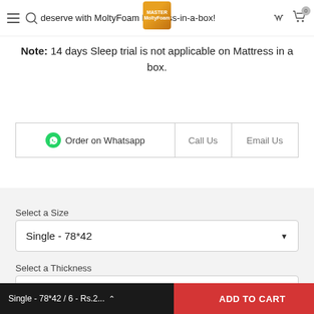deserve with MoltyFoam Mattress-in-a-box!
Note: 14 days Sleep trial is not applicable on Mattress in a box.
| Order on Whatsapp | Call Us | Email Us |
| --- | --- | --- |
Select a Size
Single - 78*42
Select a Thickness
6
Single - 78*42 / 6 - Rs.2...    ADD TO CART